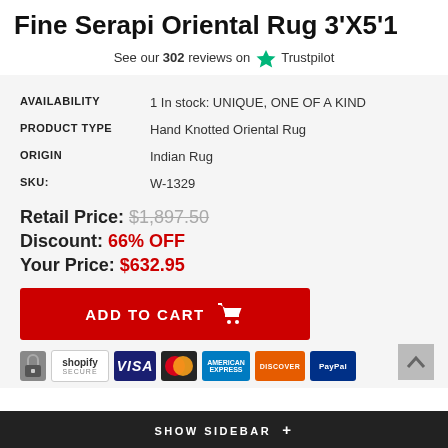Fine Serapi Oriental Rug 3'X5'1
See our 302 reviews on ★ Trustpilot
| Field | Value |
| --- | --- |
| AVAILABILITY | 1 In stock: UNIQUE, ONE OF A KIND |
| PRODUCT TYPE | Hand Knotted Oriental Rug |
| ORIGIN | Indian Rug |
| SKU: | W-1329 |
Retail Price: $1,897.50
Discount: 66% OFF
Your Price: $632.95
ADD TO CART
SHOW SIDEBAR +